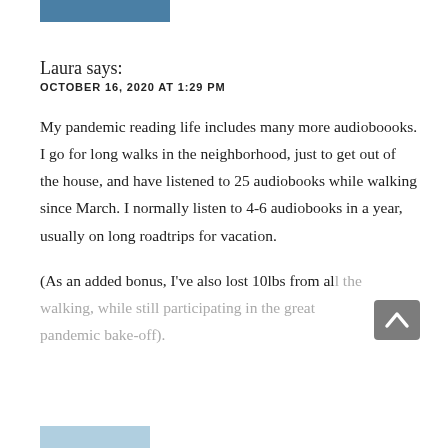Laura says:
OCTOBER 16, 2020 AT 1:29 PM
My pandemic reading life includes many more audioboooks. I go for long walks in the neighborhood, just to get out of the house, and have listened to 25 audiobooks while walking since March. I normally listen to 4-6 audiobooks in a year, usually on long roadtrips for vacation.
(As an added bonus, I've also lost 10lbs from all the walking, while still participating in the great pandemic bake-off).